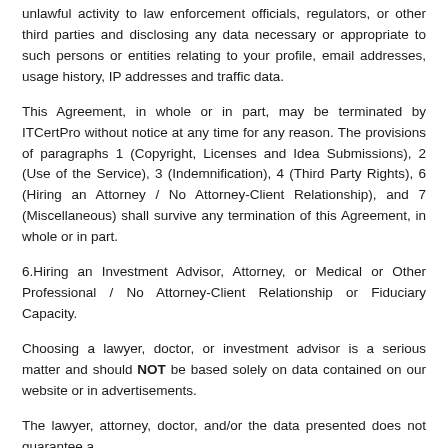unlawful activity to law enforcement officials, regulators, or other third parties and disclosing any data necessary or appropriate to such persons or entities relating to your profile, email addresses, usage history, IP addresses and traffic data.
This Agreement, in whole or in part, may be terminated by ITCertPro without notice at any time for any reason. The provisions of paragraphs 1 (Copyright, Licenses and Idea Submissions), 2 (Use of the Service), 3 (Indemnification), 4 (Third Party Rights), 6 (Hiring an Attorney / No Attorney-Client Relationship), and 7 (Miscellaneous) shall survive any termination of this Agreement, in whole or in part.
6.Hiring an Investment Advisor, Attorney, or Medical or Other Professional / No Attorney-Client Relationship or Fiduciary Capacity.
Choosing a lawyer, doctor, or investment advisor is a serious matter and should NOT be based solely on data contained on our website or in advertisements.
The lawyer, attorney, doctor, and/or the data presented does not guarantee a...